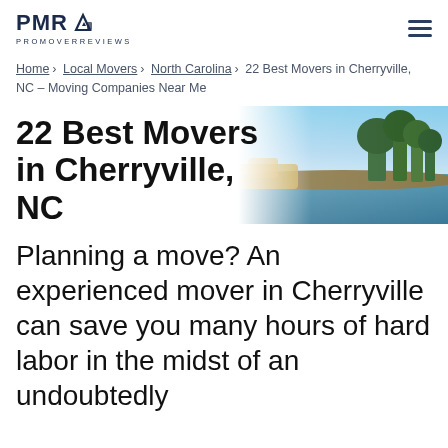PMR PROMOVERREVIEWS
Home > Local Movers > North Carolina > 22 Best Movers in Cherryville, NC – Moving Companies Near Me
22 Best Movers in Cherryville, NC
[Figure (photo): Outdoor landscape photo showing a river or lake with trees and golden grass in the background and blue sky]
Planning a move? An experienced mover in Cherryville can save you many hours of hard labor in the midst of an undoubtedly